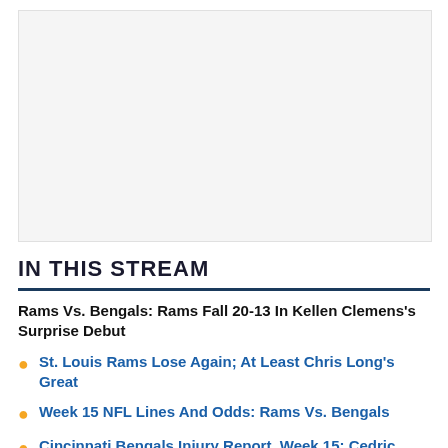[Figure (other): Placeholder image area, blank/white rectangle]
IN THIS STREAM
Rams Vs. Bengals: Rams Fall 20-13 In Kellen Clemens's Surprise Debut
St. Louis Rams Lose Again; At Least Chris Long's Great
Week 15 NFL Lines And Odds: Rams Vs. Bengals
Cincinnati Bengals Injury Report, Week 15: Cedric Benson Limited With Back Injury
VIEW ALL 27 STORIES